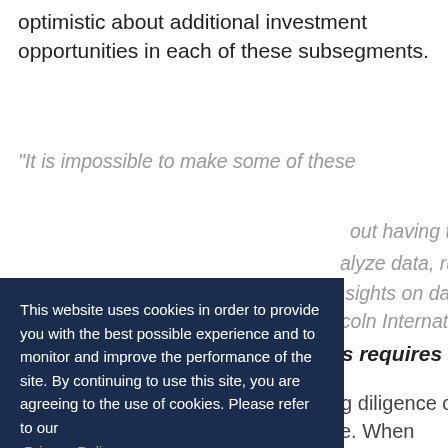optimistic about additional investment opportunities in each of these subsegments.
“It is impossible to make some of these [decisions] without having the [tools] to analyze data, run [and gain] insights on data.” — Lincoln International
es requires
ng diligence on ce. When on understanding
This website uses cookies in order to provide you with the best possible experience and to monitor and improve the performance of the site. By continuing to use this site, you are agreeing to the use of cookies. Please refer to our Privacy Policy.